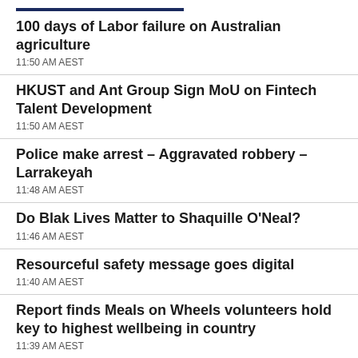100 days of Labor failure on Australian agriculture
11:50 AM AEST
HKUST and Ant Group Sign MoU on Fintech Talent Development
11:50 AM AEST
Police make arrest – Aggravated robbery – Larrakeyah
11:48 AM AEST
Do Blak Lives Matter to Shaquille O'Neal?
11:46 AM AEST
Resourceful safety message goes digital
11:40 AM AEST
Report finds Meals on Wheels volunteers hold key to highest wellbeing in country
11:39 AM AEST